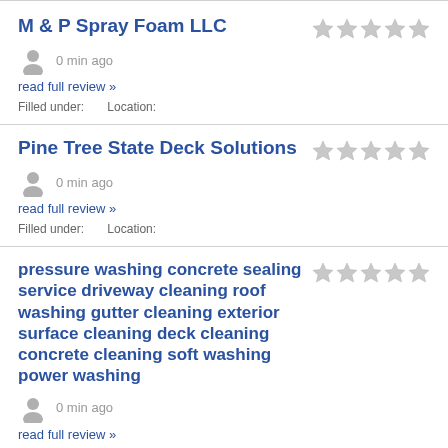M & P Spray Foam LLC
0 min ago
read full review »
Filled under:   Location:
Pine Tree State Deck Solutions
0 min ago
read full review »
Filled under:   Location:
pressure washing concrete sealing service driveway cleaning roof washing gutter cleaning exterior surface cleaning deck cleaning concrete cleaning soft washing power washing
0 min ago
read full review »
Filled under:   Location: